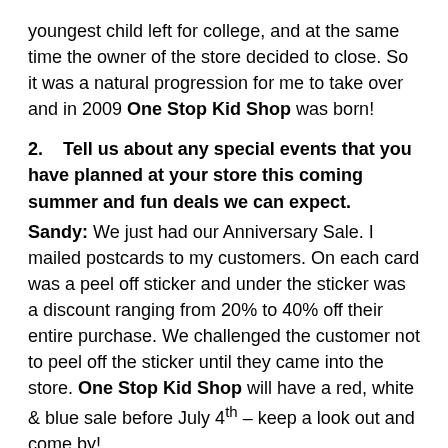youngest child left for college, and at the same time the owner of the store decided to close. So it was a natural progression for me to take over and in 2009 One Stop Kid Shop was born!
2.    Tell us about any special events that you have planned at your store this coming summer and fun deals we can expect.
Sandy: We just had our Anniversary Sale. I mailed postcards to my customers. On each card was a peel off sticker and under the sticker was a discount ranging from 20% to 40% off their entire purchase. We challenged the customer not to peel off the sticker until they came into the store. One Stop Kid Shop will have a red, white & blue sale before July 4th – keep a look out and come by!
3.    Describe the neighborhood of Malvern,